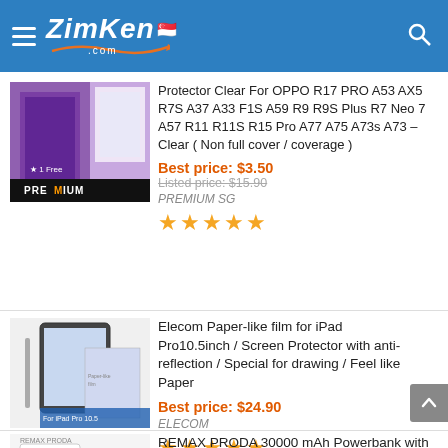ZimKen.com
Protector Clear For OPPO R17 PRO A53 AX5 R7S A37 A33 F1S A59 R9 R9S Plus R7 Neo 7 A57 R11 R11S R15 Pro A77 A75 A73s A73 – Clear ( Non full cover / coverage )
Best price: $3.50
Listed price: $15.90
PREMIUM SG
★★★★★
Elecom Paper-like film for iPad Pro10.5inch / Screen Protector with anti-reflection / Special for drawing / Feel like Paper
Best price: $24.90
ELECOM
★★★★★
REMAX PRODA 30000 mAh Powerbank with 4 Ports for All Phones Power Bank 30000mah